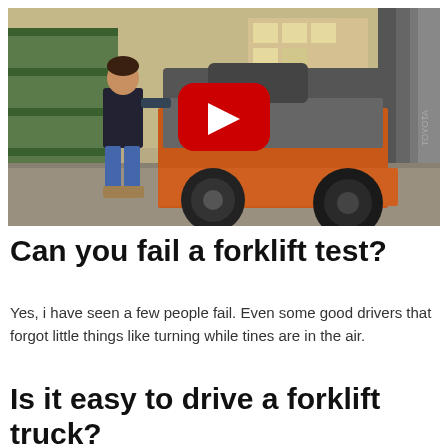[Figure (photo): A person standing next to a Toyota forklift truck in a warehouse setting, with a YouTube play button overlay in the center of the image.]
Can you fail a forklift test?
Yes, i have seen a few people fail. Even some good drivers that forgot little things like turning while tines are in the air.
Is it easy to drive a forklift truck?